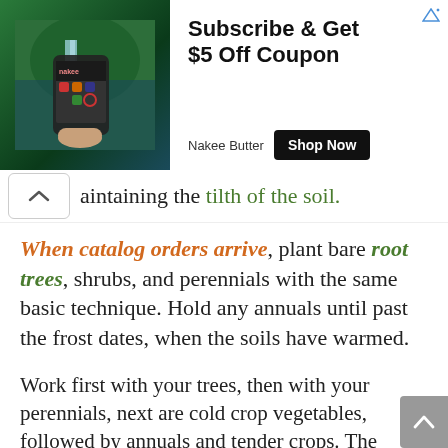[Figure (screenshot): Advertisement banner for Nakee Butter showing a phone held over a waterfall background, with text 'Subscribe & Get $5 Off Coupon', a 'Shop Now' button, and 'Nakee Butter' brand name.]
maintaining the tilth of the soil.
When catalog orders arrive, plant bare root trees, shrubs, and perennials with the same basic technique. Hold any annuals until past the frost dates, when the soils have warmed.
Work first with your trees, then with your perennials, next are cold crop vegetables, followed by annuals and tender crops. The progression of spring dictates best practices for working the soil and planting.